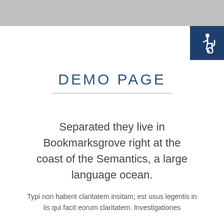[Figure (illustration): Accessibility icon (wheelchair symbol) in white on dark navy blue square background, positioned top right]
DEMO PAGE
Separated they live in Bookmarksgrove right at the coast of the Semantics, a large language ocean.
Typi non habent claritatem insitam; est usus legentis in iis qui facit eorum claritatem. Investigationes